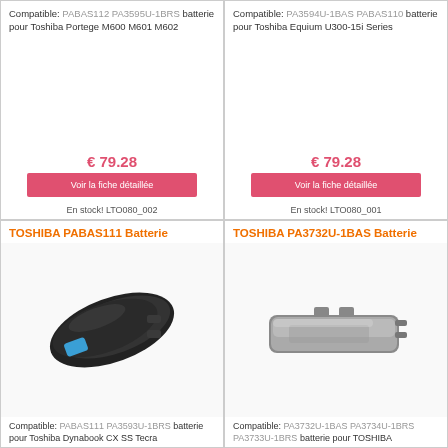[Figure (photo): Top-left product card showing bottom portion: compatible text for PABAS112 PA3595U-1BRS battery for Toshiba Portege M600 M601 M602, price €79.28, button 'Voir la fiche détaillée', stock LTO080_002]
[Figure (photo): Top-right product card showing bottom portion: compatible text for PA3594U-1BAS PABAS110 battery for Toshiba Equium U300-15i Series, price €79.28, button 'Voir la fiche détaillée', stock LTO080_001]
[Figure (photo): Bottom-left product card: TOSHIBA PABAS111 Batterie with photo of black laptop battery, compatible PABAS111 PA3593U-1BRS battery for Toshiba Dynabook CX SS Tecra]
[Figure (photo): Bottom-right product card: TOSHIBA PA3732U-1BAS Batterie with photo of slim gray laptop battery, compatible PA3732U-1BAS PA3734U-1BRS PA3733U-1BRS batterie pour TOSHIBA]